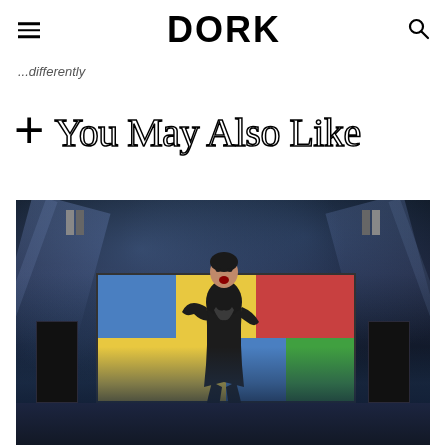DORK
...differently
+ You May Also Like
[Figure (photo): Concert photo of a performer in a black pinstripe suit on stage, dramatically posed in front of colorful LED screens, with stage lighting and fog effects in a dark arena setting.]